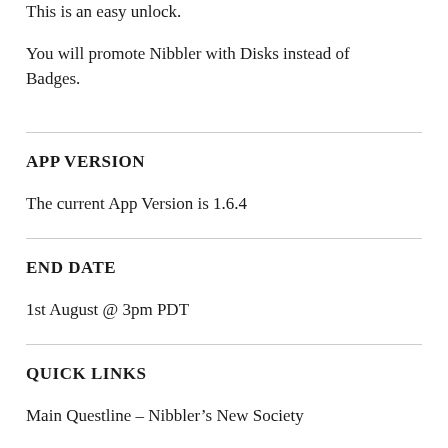This is an easy unlock.
You will promote Nibbler with Disks instead of Badges.
APP VERSION
The current App Version is 1.6.4
END DATE
1st August @ 3pm PDT
QUICK LINKS
Main Questline – Nibbler's New Society